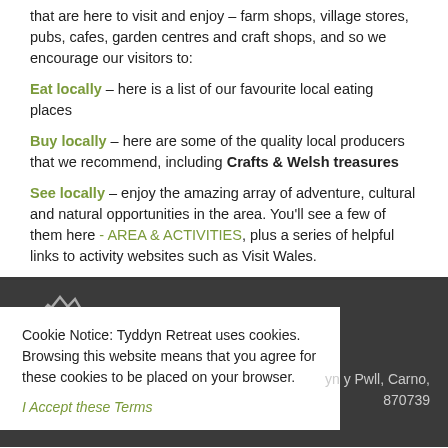that are here to visit and enjoy – farm shops, village stores, pubs, cafes, garden centres and craft shops, and so we encourage our visitors to:
Eat locally – here is a list of our favourite local eating places
Buy locally – here are some of the quality local producers that we recommend, including Crafts & Welsh treasures
See locally – enjoy the amazing array of adventure, cultural and natural opportunities in the area. You'll see a few of them here - AREA & ACTIVITIES, plus a series of helpful links to activity websites such as Visit Wales.
Cookie Notice: Tyddyn Retreat uses cookies. Browsing this website means that you agree for these cookies to be placed on your browser.
I Accept these Terms
yn y Pwll, Carno,
870739